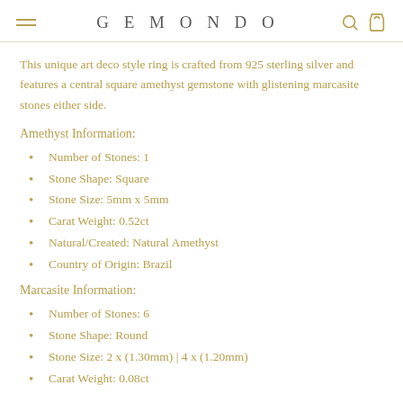GEMONDO
This unique art deco style ring is crafted from 925 sterling silver and features a central square amethyst gemstone with glistening marcasite stones either side.
Amethyst Information:
Number of Stones: 1
Stone Shape: Square
Stone Size: 5mm x 5mm
Carat Weight: 0.52ct
Natural/Created: Natural Amethyst
Country of Origin: Brazil
Marcasite Information:
Number of Stones: 6
Stone Shape: Round
Stone Size: 2 x (1.30mm) | 4 x (1.20mm)
Carat Weight: 0.08ct